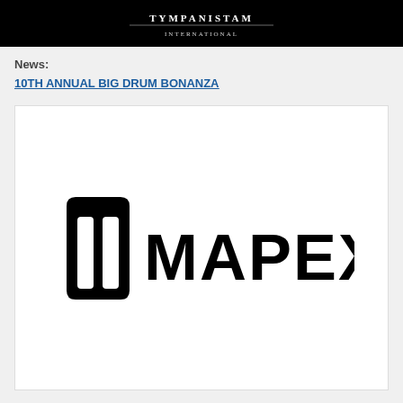[Figure (illustration): Black banner image with timpanistam text/logo in white at top of page]
News:
10TH ANNUAL BIG DRUM BONANZA
[Figure (logo): MAPEX drums logo — black M icon followed by MAPEX wordmark in bold black letters on white background]